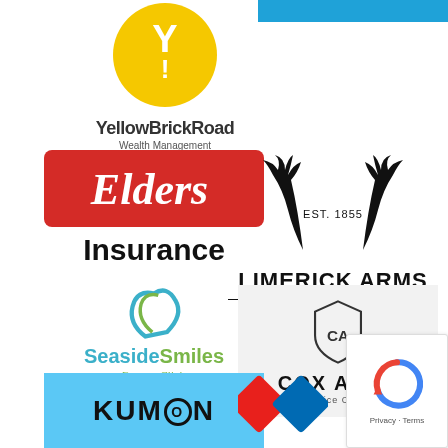[Figure (logo): YellowBrickRoad Wealth Management Port Melbourne logo — yellow circle with Y and exclamation mark, text below]
[Figure (logo): Partial blue logo at top right (cropped)]
[Figure (logo): Elders Insurance logo — red rounded rectangle with Elders script, Insurance text below in bold black]
[Figure (logo): Limerick Arms Steak & Ale House logo — antler illustration with EST. 1855, bold text]
[Figure (logo): SeasideSmiles Denture Clinic logo — teal and green stylized S mark with coloured text]
[Figure (logo): Cox Auto Service Centre logo — shield icon with CA monogram on grey background]
[Figure (logo): Kumon logo — light blue background with bold KUMON lettering]
[Figure (logo): Domino's Pizza logo — red and blue diamond shapes (partial)]
[Figure (logo): Google reCAPTCHA badge — circular arrow icon with Privacy and Terms text]